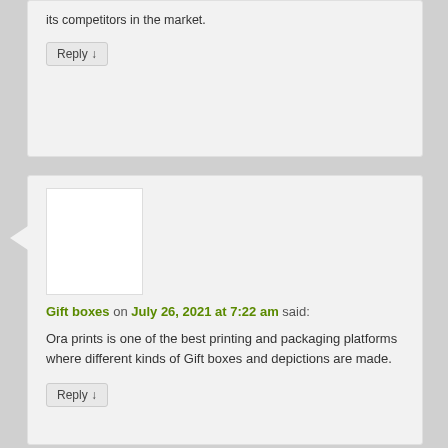its competitors in the market.
Reply ↓
Gift boxes on July 26, 2021 at 7:22 am said:
Ora prints is one of the best printing and packaging platforms where different kinds of Gift boxes and depictions are made.
Reply ↓